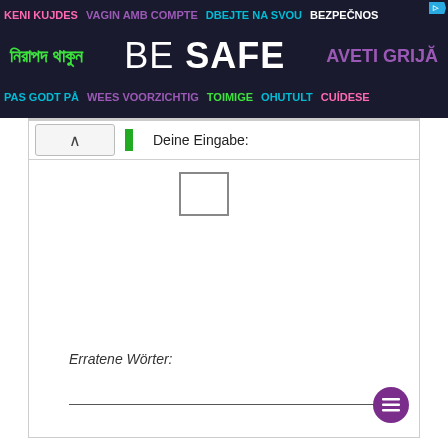[Figure (infographic): Multilingual safety banner with dark blue background. Row 1: KENI KUJDES (pink), VAGIN AMB COMPTE (purple), DBEJTE NA SVOU BEZPEČNOS (cyan/white). Row 2: Bengali text in green, BE SAFE in large white text, AVETI GRIJĂ in purple. Row 3: PAS GODT PÅ (cyan), WEES VOORZICHTIG (purple), TOIMIGE OHUTULT (green), CUÍDESE (pink). Ad icon top right.]
Deine Eingabe:
Erratene Wörter: